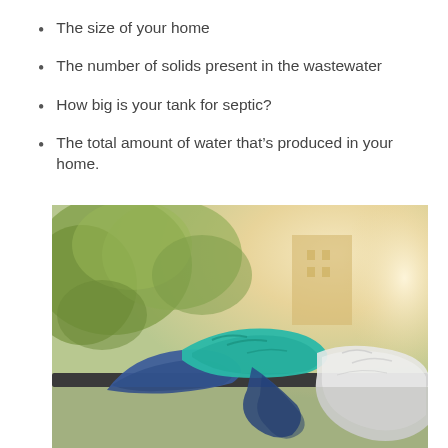The size of your home
The number of solids present in the wastewater
How big is your tank for septic?
The total amount of water that's produced in your home.
[Figure (photo): Rubber cleaning gloves (blue and teal) draped over a railing, with a white plastic bag, blurred green trees and building in background]